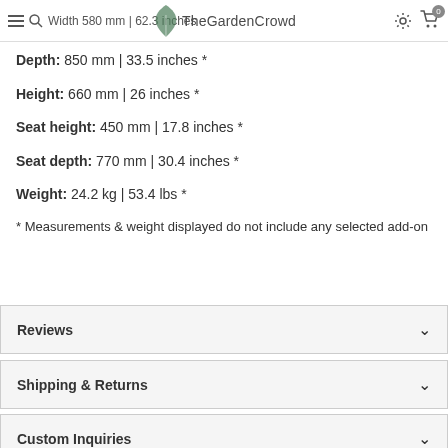Width 580 mm | 62.3 inches TheGardenCrowd
Depth: 850 mm | 33.5 inches *
Height: 660 mm | 26 inches *
Seat height: 450 mm | 17.8 inches *
Seat depth: 770 mm | 30.4 inches *
Weight: 24.2 kg | 53.4 lbs *
* Measurements & weight displayed do not include any selected add-on
Reviews
Shipping & Returns
Custom Inquiries